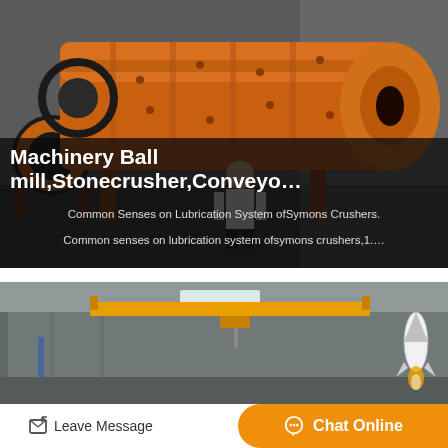[Figure (photo): Large orange ball mill / stone crusher machine in an industrial yard with a man standing in front of it. Dark overlay at bottom with white text.]
Machinery Ball mill,Stonecrusher,Conveyo…
Common Senses on Lubrication System ofSymons Crushers.
Common senses on lubrication system ofsymons crushers,1.…
[Figure (photo): Interior of a large industrial factory/workshop with yellow overhead crane beam and steel structure walls. A rocket icon is visible in the lower right.]
Leave Message
Chat Online